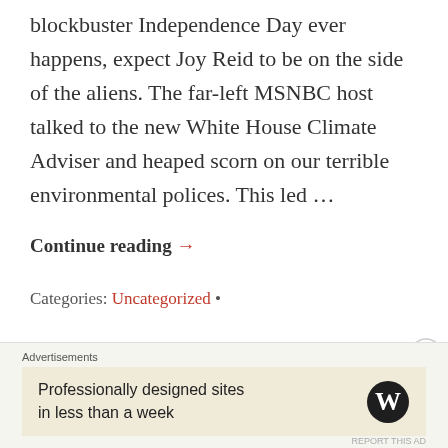blockbuster Independence Day ever happens, expect Joy Reid to be on the side of the aliens. The far-left MSNBC host talked to the new White House Climate Adviser and heaped scorn on our terrible environmental polices. This led …
Continue reading →
Categories: Uncategorized •
Advertisements
Professionally designed sites in less than a week